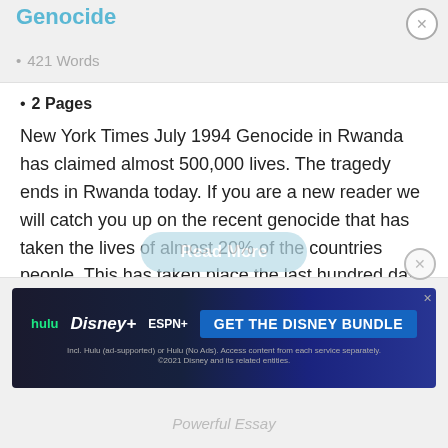Genocide
421 Words
2 Pages
New York Times July 1994 Genocide in Rwanda has claimed almost 500,000 lives. The tragedy ends in Rwanda today. If you are a new reader we will catch you up on the recent genocide that has taken the lives of almost 20% of the countries people. This has taken place the last hundred days or so. It started with the Rwandan Civil War which was fought between the Hutu regime and the Rwandan Patriotic Front. The Hutu Power claimed that the Tutsi people intended to enslave the Hutu people…
[Figure (infographic): Advertisement banner for Disney Bundle featuring Hulu, Disney+, and ESPN+ logos with a dark blue gradient background and 'GET THE DISNEY BUNDLE' call-to-action button. Fine print reads: Incl. Hulu (ad-supported) or Hulu (No Ads). Access content from each service separately. ©2021 Disney and its related entities.]